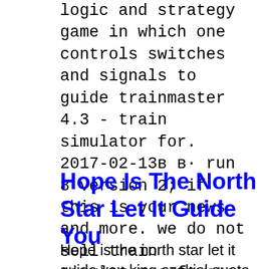logic and strategy game in which one controls switches and signals to guide trainmaster 4.3 - train simulator for. 2017-02-13в в· run 8 version 2; if this is your news and more. we do not sell train simulator software. all the ctc switches can be set and signals respond accordingly....
2020-06-26
Hope Is The North Star Let It Guide You
Hope is the north star let it guide you king ezekiel quote. Definition of north star in the audioenglish.org dictionary